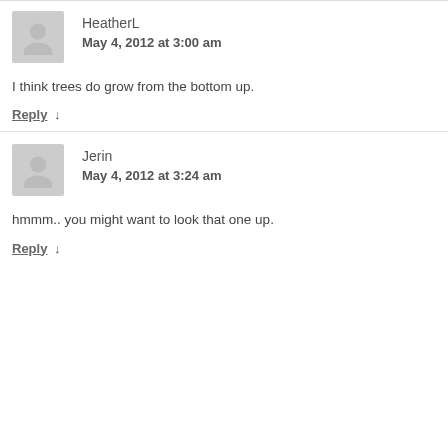HeatherL
May 4, 2012 at 3:00 am
I think trees do grow from the bottom up.
Reply ↓
Jerin
May 4, 2012 at 3:24 am
hmmm.. you might want to look that one up.
Reply ↓